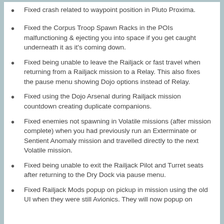Fixed crash related to waypoint position in Pluto Proxima.
Fixed the Corpus Troop Spawn Racks in the POIs malfunctioning & ejecting you into space if you get caught underneath it as it's coming down.
Fixed being unable to leave the Railjack or fast travel when returning from a Railjack mission to a Relay. This also fixes the pause menu showing Dojo options instead of Relay.
Fixed using the Dojo Arsenal during Railjack mission countdown creating duplicate companions.
Fixed enemies not spawning in Volatile missions (after mission complete) when you had previously run an Exterminate or Sentient Anomaly mission and travelled directly to the next Volatile mission.
Fixed being unable to exit the Railjack Pilot and Turret seats after returning to the Dry Dock via pause menu.
Fixed Railjack Mods popup on pickup in mission using the old UI when they were still Avionics. They will now popup on